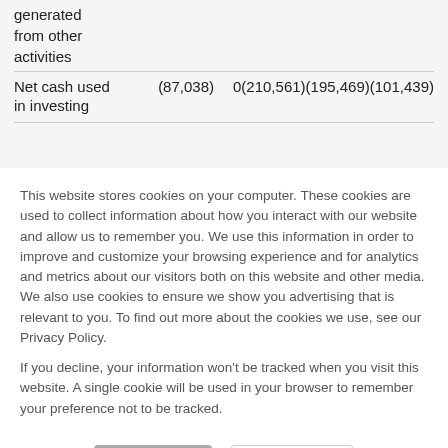| generated from other activities |  |  |  |  |
| Net cash used in investing | (87,038) | 0 | (210,561) | (195,469) | (101,439) |
This website stores cookies on your computer. These cookies are used to collect information about how you interact with our website and allow us to remember you. We use this information in order to improve and customize your browsing experience and for analytics and metrics about our visitors both on this website and other media. We also use cookies to ensure we show you advertising that is relevant to you. To find out more about the cookies we use, see our Privacy Policy.

If you decline, your information won't be tracked when you visit this website. A single cookie will be used in your browser to remember your preference not to be tracked.